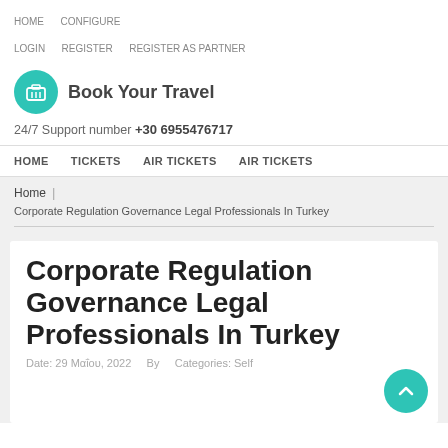HOME   CONFIGURE   LOGIN   REGISTER   REGISTER AS PARTNER
[Figure (logo): Book Your Travel logo with teal circle icon containing luggage/briefcase symbol]
24/7 Support number +30 6955476717
HOME   TICKETS   AIR TICKETS   AIR TICKETS
Home | Corporate Regulation Governance Legal Professionals In Turkey
Corporate Regulation Governance Legal Professionals In Turkey
Date: 29 Μαΐου, 2022   By   Categories: Self